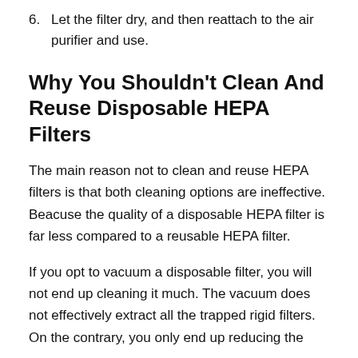6. Let the filter dry, and then reattach to the air purifier and use.
Why You Shouldn't Clean And Reuse Disposable HEPA Filters
The main reason not to clean and reuse HEPA filters is that both cleaning options are ineffective. Beacuse the quality of a disposable HEPA filter is far less compared to a reusable HEPA filter.
If you opt to vacuum a disposable filter, you will not end up cleaning it much. The vacuum does not effectively extract all the trapped rigid filters. On the contrary, you only end up reducing the